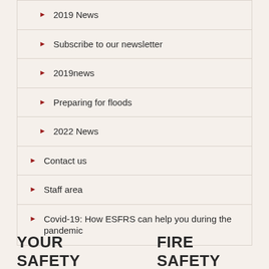2019 News
Subscribe to our newsletter
2019news
Preparing for floods
2022 News
Contact us
Staff area
Covid-19: How ESFRS can help you during the pandemic
YOUR SAFETY   FIRE SAFETY